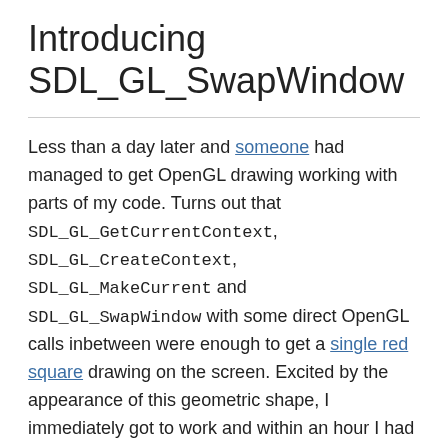Introducing SDL_GL_SwapWindow
Less than a day later and someone had managed to get OpenGL drawing working with parts of my code. Turns out that SDL_GL_GetCurrentContext, SDL_GL_CreateContext, SDL_GL_MakeCurrent and SDL_GL_SwapWindow with some direct OpenGL calls inbetween were enough to get a single red square drawing on the screen. Excited by the appearance of this geometric shape, I immediately got to work and within an hour I had a proof-of-concept up on GitHub.